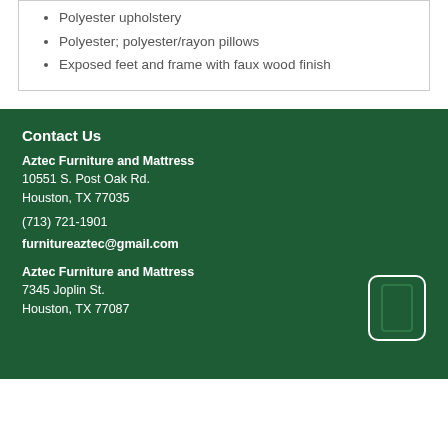Polyester upholstery
Polyester; polyester/rayon pillows
Exposed feet and frame with faux wood finish
Contact Us
Aztec Furniture and Mattress
10551 S. Post Oak Rd.
Houston, TX 77035
(713) 721-1901
furnitureaztec@gmail.com
Aztec Furniture and Mattress
7345 Joplin St.
Houston, TX 77087